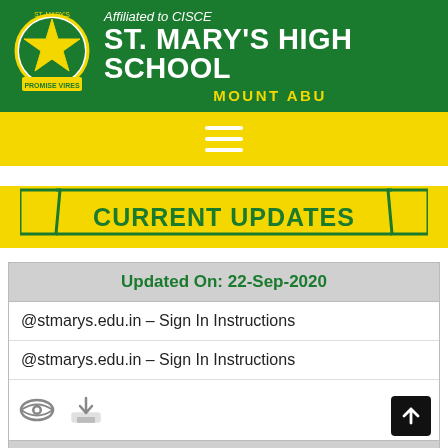[Figure (logo): St. Mary's High School logo with green star and banner]
Affiliated to CISCE
ST. MARY'S HIGH SCHOOL
MOUNT ABU
[Figure (infographic): Yellow navigation bar with hamburger menu icon (three white lines)]
CURRENT UPDATES
Updated On: 22-Sep-2020
@stmarys.edu.in - Sign In Instructions
@stmarys.edu.in - Sign In Instructions
Other Notice(s)